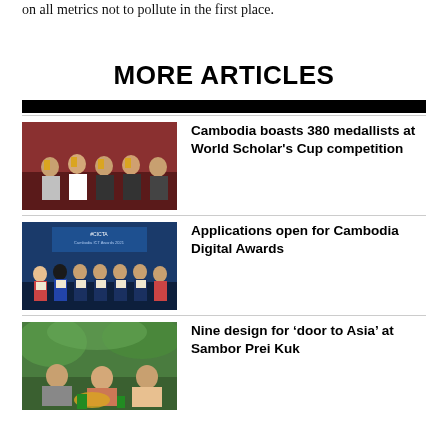on all metrics not to pollute in the first place.
MORE ARTICLES
[Figure (photo): Students holding trophies at World Scholar's Cup competition]
Cambodia boasts 380 medallists at World Scholar's Cup competition
[Figure (photo): Group of people at Cambodia ICT Awards (#CICTA) event with certificates]
Applications open for Cambodia Digital Awards
[Figure (photo): People crafting or weaving outdoors at Sambor Prei Kuk]
Nine design for ‘door to Asia’ at Sambor Prei Kuk